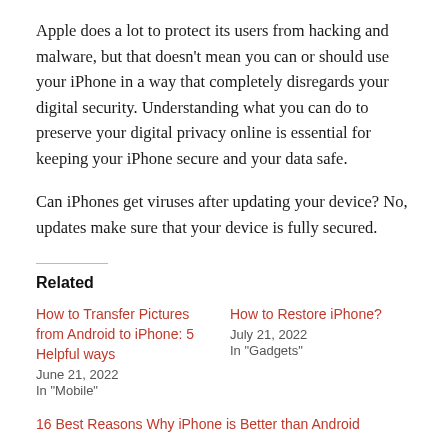Apple does a lot to protect its users from hacking and malware, but that doesn't mean you can or should use your iPhone in a way that completely disregards your digital security. Understanding what you can do to preserve your digital privacy online is essential for keeping your iPhone secure and your data safe.
Can iPhones get viruses after updating your device? No, updates make sure that your device is fully secured.
Related
How to Transfer Pictures from Android to iPhone: 5 Helpful ways
June 21, 2022
In "Mobile"
How to Restore iPhone?
July 21, 2022
In "Gadgets"
16 Best Reasons Why iPhone is Better than Android